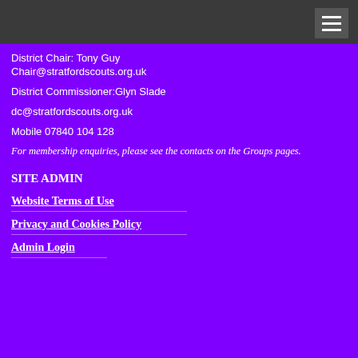District Chair: Tony Guy
Chair@stratfordscouts.org.uk
District Commissioner:Glyn Slade
dc@stratfordscouts.org.uk
Mobile 07840 104 128
For membership enquiries, please see the contacts on the Groups pages.
SITE ADMIN
Website Terms of Use
Privacy and Cookies Policy
Admin Login